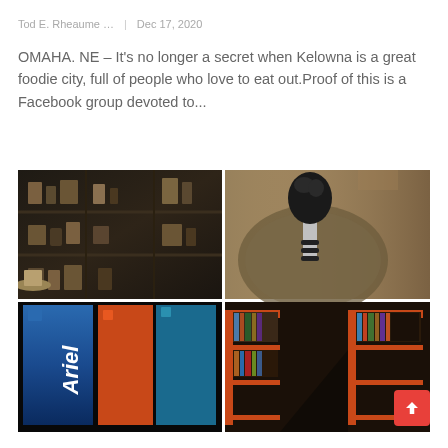Tod E. Rheaume …    Dec 17, 2020
OMAHA. NE – It's no longer a secret when Kelowna is a great foodie city, full of people who love to eat out.Proof of this is a Facebook group devoted to...
[Figure (photo): Four-panel collage: top-left shows dark shelving unit with various items/jars on shelves in a shop; top-right shows a close-up of a bottle stopper with a decorative head on a wooden surface; bottom-left shows board game boxes stacked vertically including Ariel, Discover India, Costa Rica; bottom-right shows aisles of a library or game store with red shelving units packed with board games/books.]